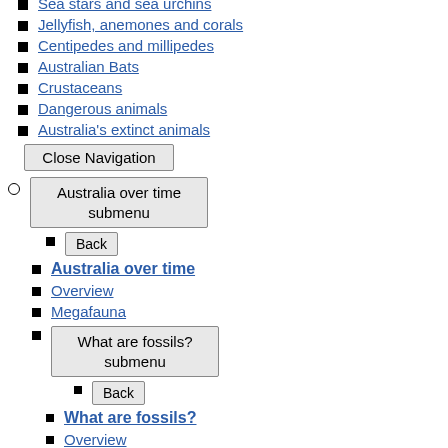Sea squirts and sea tulips
Sea stars and sea urchins
Jellyfish, anemones and corals
Centipedes and millipedes
Australian Bats
Crustaceans
Dangerous animals
Australia's extinct animals
Close Navigation [button]
Australia over time submenu [button]
Back [button]
Australia over time
Overview
Megafauna
What are fossils? submenu [button]
Back [button]
What are fossils?
Overview
Fossil sites of Australia
Close Navigation [button]
Evolving landscape
Australia's extinct animals
Close Navigation [button]